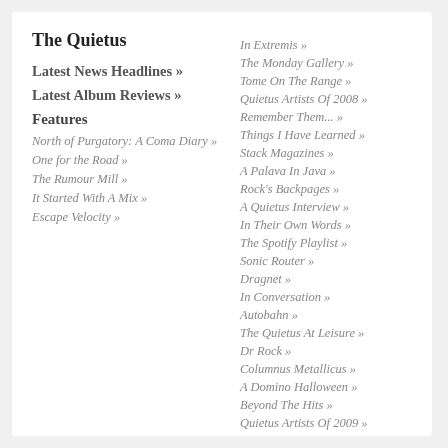The Quietus
Latest News Headlines »
Latest Album Reviews »
Features
North of Purgatory: A Coma Diary »
One for the Road »
The Rumour Mill »
It Started With A Mix »
Escape Velocity »
In Extremis »
The Monday Gallery »
Tome On The Range »
Quietus Artists Of 2008 »
Remember Them... »
Things I Have Learned »
Stack Magazines »
A Palava In Java »
Rock's Backpages »
A Quietus Interview »
In Their Own Words »
The Spotify Playlist »
Sonic Router »
Dragnet »
In Conversation »
Autobahn »
The Quietus At Leisure »
Dr Rock »
Columnus Metallicus »
A Domino Halloween »
Beyond The Hits »
Quietus Artists Of 2009 »
Anniversary »
Fall Sound »
Noel's Straight Hedge »
Box Fresh »
Where The Slime Lives »
2010 A Glass Half Full...